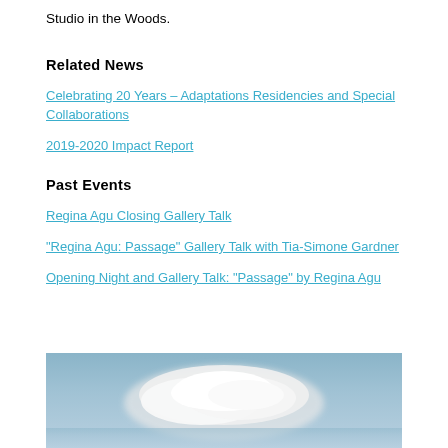Studio in the Woods.
Related News
Celebrating 20 Years – Adaptations Residencies and Special Collaborations
2019-2020 Impact Report
Past Events
Regina Agu Closing Gallery Talk
"Regina Agu: Passage" Gallery Talk with Tia-Simone Gardner
Opening Night and Gallery Talk: "Passage" by Regina Agu
[Figure (photo): Sky with white clouds on a light blue background]